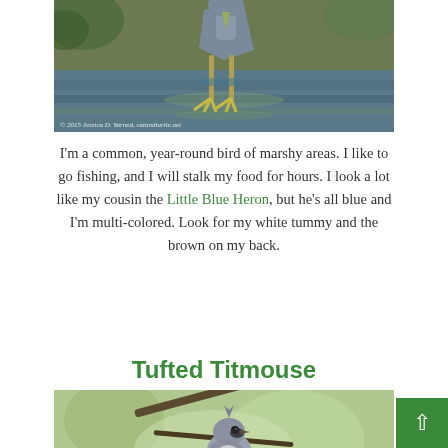[Figure (photo): A heron bird wading in marshy water, legs visible with yellow feet, photographed from behind/side. Watermark: © 2015 Jessica D. Yarned, catandturtle.net]
I'm a common, year-round bird of marshy areas. I like to go fishing, and I will stalk my food for hours. I look a lot like my cousin the Little Blue Heron, but he's all blue and I'm multi-colored. Look for my white tummy and the brown on my back.
Tufted Titmouse
[Figure (photo): A Tufted Titmouse bird perched on a branch, showing its distinctive crest, gray plumage with dark markings around the eye, photographed against a blurred green background.]